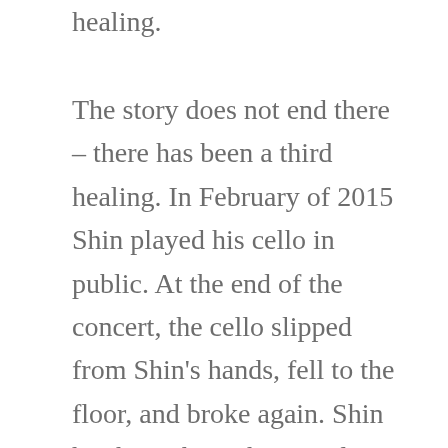healing.
The story does not end there – there has been a third healing. In February of 2015 Shin played his cello in public. At the end of the concert, the cello slipped from Shin's hands, fell to the floor, and broke again. Shin has brought to this new loss the lessons learned